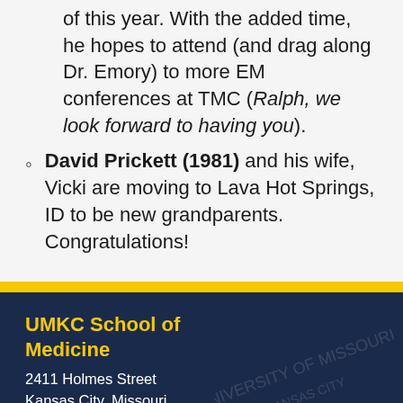of this year. With the added time, he hopes to attend (and drag along Dr. Emory) to more EM conferences at TMC (Ralph, we look forward to having you).
David Prickett (1981) and his wife, Vicki are moving to Lava Hot Springs, ID to be new grandparents. Congratulations!
UMKC School of Medicine
2411 Holmes Street
Kansas City, Missouri 64108
Phone (Main): 816-235-1808
Fax: 816-235-5277
Admissions: (816) 235-